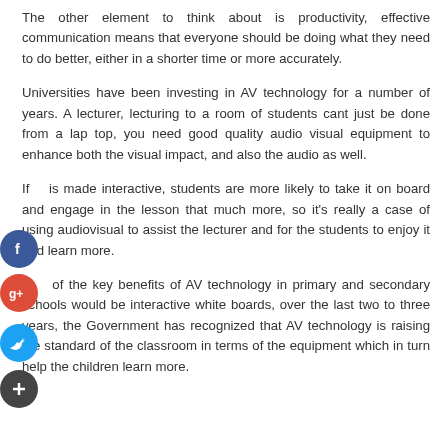The other element to think about is productivity, effective communication means that everyone should be doing what they need to do better, either in a shorter time or more accurately.
Universities have been investing in AV technology for a number of years. A lecturer, lecturing to a room of students cant just be done from a lap top, you need good quality audio visual equipment to enhance both the visual impact, and also the audio as well.
If it is made interactive, students are more likely to take it on board and engage in the lesson that much more, so it's really a case of using audiovisual to assist the lecturer and for the students to enjoy it and learn more.
One of the key benefits of AV technology in primary and secondary schools would be interactive white boards, over the last two to three years, the Government has recognized that AV technology is raising the standard of the classroom in terms of the equipment which in turn help the children learn more.